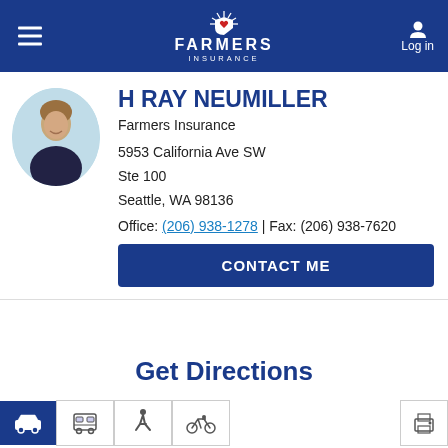[Figure (logo): Farmers Insurance logo with white sunburst shield icon and white text FARMERS INSURANCE on blue background header. Menu hamburger icon on left, person/Log in icon on right.]
H RAY NEUMILLER
Farmers Insurance
5953 California Ave SW
Ste 100
Seattle, WA 98136
Office: (206) 938-1278 | Fax: (206) 938-7620
CONTACT ME
Get Directions
[Figure (infographic): Transportation mode icons row: car (active, blue background), transit, walking, cycling icons on left; printer icon on right, with border outlines.]